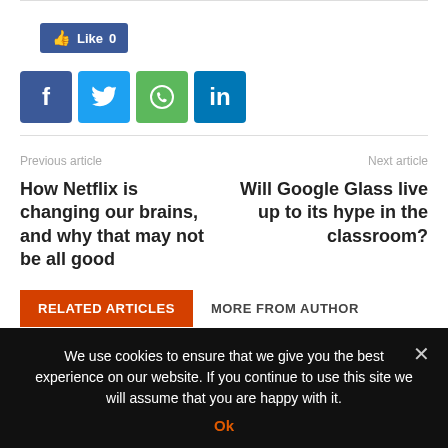[Figure (other): Facebook Like button showing count 0]
[Figure (other): Social share icons: Facebook, Twitter, WhatsApp, LinkedIn]
Previous article
Next article
How Netflix is changing our brains, and why that may not be all good
Will Google Glass live up to its hype in the classroom?
RELATED ARTICLES
MORE FROM AUTHOR
We use cookies to ensure that we give you the best experience on our website. If you continue to use this site we will assume that you are happy with it.
Ok